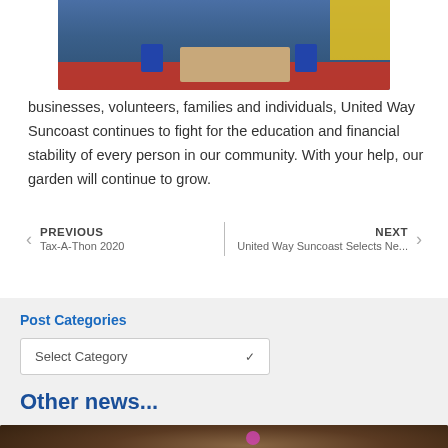[Figure (photo): Classroom interior with blue walls, red rug, wooden table, and blue chairs]
businesses, volunteers, families and individuals, United Way Suncoast continues to fight for the education and financial stability of every person in our community. With your help, our garden will continue to grow.
PREVIOUS
Tax-A-Thon 2020
NEXT
United Way Suncoast Selects Ne...
Post Categories
Select Category
Other news...
[Figure (photo): Dark indoor scene with warm light, possibly a workshop or kitchen]